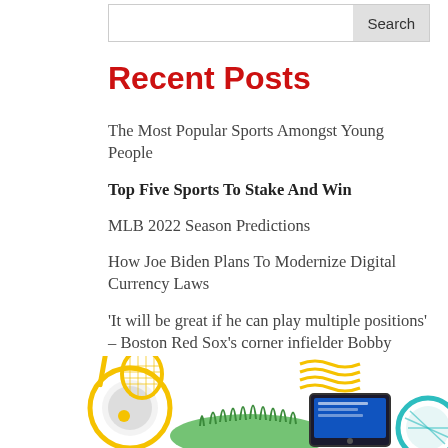Recent Posts
The Most Popular Sports Amongst Young People
Top Five Sports To Stake And Win
MLB 2022 Season Predictions
How Joe Biden Plans To Modernize Digital Currency Laws
‘It will be great if he can play multiple positions’ – Boston Red Sox’s corner infielder Bobby Dalbec to learn several positions
[Figure (illustration): Sports-themed illustration showing a tennis racket, green grass, a tablet device, and decorative circular shapes in yellow/gold and teal colors at the bottom of the page]